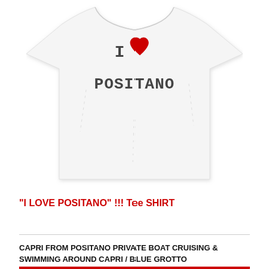[Figure (photo): A white t-shirt with 'I ♥ POSITANO' printed on it, shown from the front on a white background.]
"I LOVE POSITANO" !!! Tee SHIRT
CAPRI FROM POSITANO PRIVATE BOAT CRUISING & SWIMMING AROUND CAPRI / BLUE GROTTO